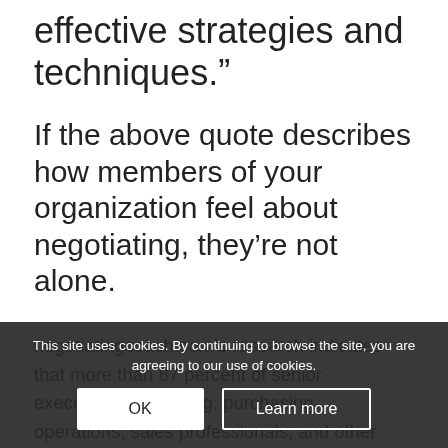effective strategies and techniques.”
If the above quote describes how members of your organization feel about negotiating, they’re not alone.
negotiatingcoach.com’s research indicates that more than 87 percent of senior executives, marketing, purchasing, operations, sales professionals, and other businesspeople have exactly the same challenge: members of their organizations may understand the theory behind negotiating but may negotiate based solely on instinct. In most organizations and individuals don’t have a proven negotiating process and
This site uses cookies. By continuing to browse the site, you are agreeing to our use of cookies.